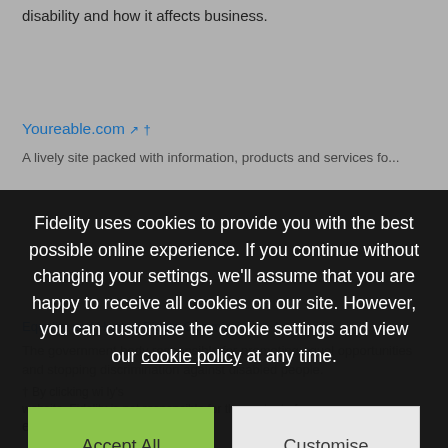disability and how it affects business.
Youreable.com ↗ †
A lively site packed with information, products and services fo...
Equality and Human Rights Commission ↗ †
The government body responsible for promoting equal opportunities and stopping discrimination against disabled people.
Fidelity uses cookies to provide you with the best possible online experience. If you continue without changing your settings, we'll assume that you are happy to receive all cookies on our site. However, you can customise the cookie settings and view our cookie policy at any time.
† By clicking ... will ... ly's website. Fidelity is not responsible for the content of external internet sites.